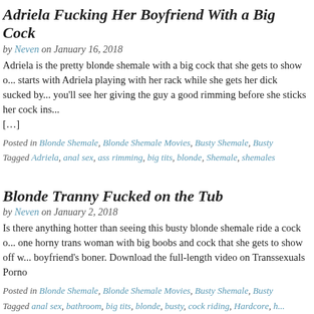Adriela Fucking Her Boyfriend With a Big Cock
by Neven on January 16, 2018
Adriela is the pretty blonde shemale with a big cock that she gets to show o... starts with Adriela playing with her rack while she gets her dick sucked by... you'll see her giving the guy a good rimming before she sticks her cock ins... [...]
Posted in Blonde Shemale, Blonde Shemale Movies, Busty Shemale, Busty
Tagged Adriela, anal sex, ass rimming, big tits, blonde, Shemale, shemales
Blonde Tranny Fucked on the Tub
by Neven on January 2, 2018
Is there anything hotter than seeing this busty blonde shemale ride a cock o... one horny trans woman with big boobs and cock that she gets to show off w... boyfriend's boner. Download the full-length video on Transsexuals Porno
Posted in Blonde Shemale, Blonde Shemale Movies, Busty Shemale, Busty
Tagged anal sex, bathroom, big tits, blonde, busty, cock riding, Hardcore, h...
transsexualsporno.com